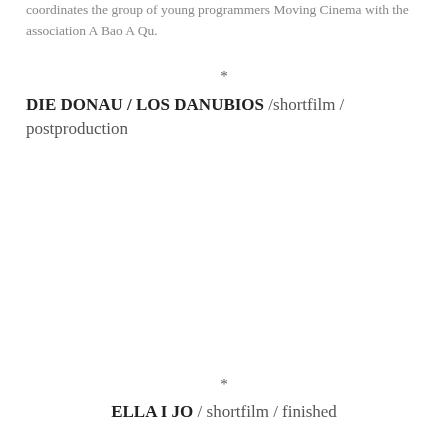coordinates the group of young programmers Moving Cinema with the association A Bao A Qu.
*
DIE DONAU / LOS DANUBIOS /shortfilm / postproduction
*
ELLA I JO / shortfilm / finished